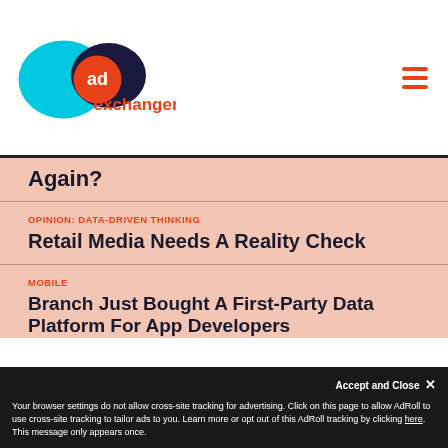AdExchanger logo and navigation menu
Again?
OPINION: DATA-DRIVEN THINKING
Retail Media Needs A Reality Check
MOBILE
Branch Just Bought A First-Party Data Platform For App Developers
DIGITAL TV AND VIDEO
Samsung Relaunches Samsung TV Plus, Placing Big Bets On FAST Channels…
Your browser settings do not allow cross-site tracking for advertising. Click on this page to allow AdRoll to use cross-site tracking to tailor ads to you. Learn more or opt out of this AdRoll tracking by clicking here. This message only appears once.